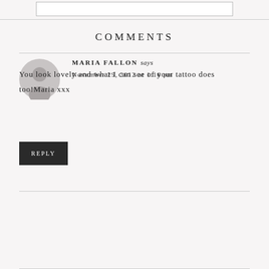COMMENTS
[Figure (illustration): Generic user avatar icon — grey circle with silhouette of a person]
MARIA FALLON says
November 29, 2012 at 1:16 pm
You look lovely and what I can see of your tattoo does too!Maria xxx
REPLY